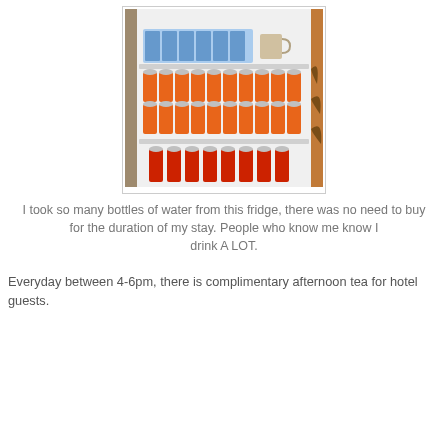[Figure (photo): Open refrigerator filled with many cans of orange soda on middle shelves and red cans on the bottom shelf, with blue yogurt cups and a mug on the top shelf.]
I took so many bottles of water from this fridge, there was no need to buy for the duration of my stay. People who know me know I drink A LOT.
Everyday between 4-6pm, there is complimentary afternoon tea for hotel guests.